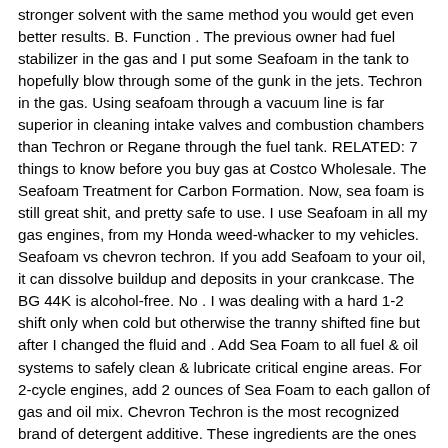stronger solvent with the same method you would get even better results. B. Function . The previous owner had fuel stabilizer in the gas and I put some Seafoam in the tank to hopefully blow through some of the gunk in the jets. Techron in the gas. Using seafoam through a vacuum line is far superior in cleaning intake valves and combustion chambers than Techron or Regane through the fuel tank. RELATED: 7 things to know before you buy gas at Costco Wholesale. The Seafoam Treatment for Carbon Formation. Now, sea foam is still great shit, and pretty safe to use. I use Seafoam in all my gas engines, from my Honda weed-whacker to my vehicles. Seafoam vs chevron techron. If you add Seafoam to your oil, it can dissolve buildup and deposits in your crankcase. The BG 44K is alcohol-free. No . I was dealing with a hard 1-2 shift only when cold but otherwise the tranny shifted fine but after I changed the fluid and . Add Sea Foam to all fuel & oil systems to safely clean & lubricate critical engine areas. For 2-cycle engines, add 2 ounces of Sea Foam to each gallon of gas and oil mix. Chevron Techron is the most recognized brand of detergent additive. These ingredients are the ones that are responsible for removing the build-up of sludge and carbon deposits in your fuel injectors. Helps remove carbon build up and gas shellac in fuel systems. There is approximately 100% more active ingredient in the Techron Concentrate than the Pro-Gard Fuel Injector Cleaner. I've tried the Techron and the Redline SI-1 and they're both great products! "The Ultimate Driving Machine". #1. Sea Foam worked great on my Jetta diesel. It has no purpose in fuel compared to better treatments